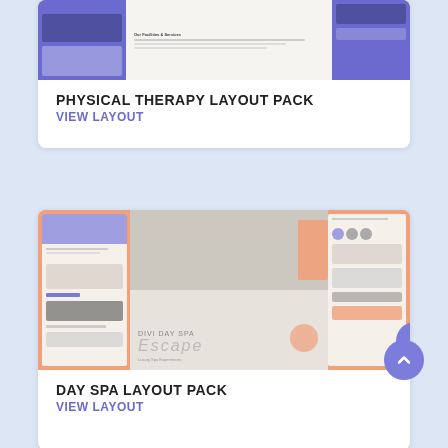[Figure (screenshot): Physical Therapy layout pack preview showing three website page thumbnails with blue/purple color scheme]
PHYSICAL THERAPY LAYOUT PACK
VIEW LAYOUT
[Figure (screenshot): Day Spa layout pack preview showing three website page thumbnails with orange/coral color scheme and a woman with towel on head]
DAY SPA LAYOUT PACK
VIEW LAYOUT